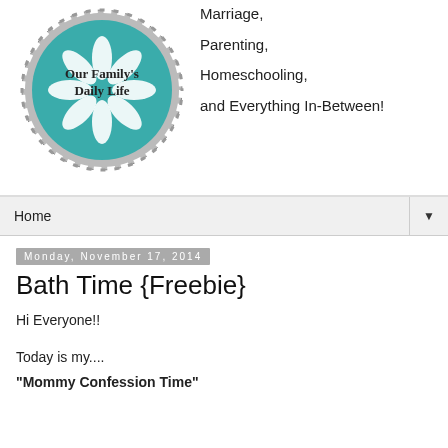[Figure (logo): Circular teal logo with rope border and daisy/snowflake design, text reads 'Our Family's Daily Life']
Marriage, Parenting, Homeschooling, and Everything In-Between!
Home
Monday, November 17, 2014
Bath Time {Freebie}
Hi Everyone!!
Today is my....
"Mommy Confession Time"